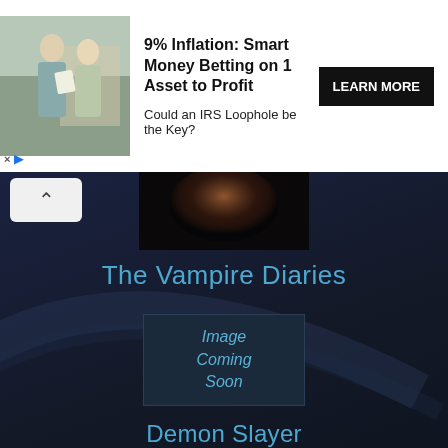[Figure (screenshot): Advertisement banner: '9% Inflation: Smart Money Betting on 1 Asset to Profit. Could an IRS Loophole be the Key?' with LEARN MORE button and elderly couple image]
[Figure (screenshot): Collapsed section toggle button with upward caret arrow]
[Figure (screenshot): Dark blurred show thumbnail image at top]
The Vampire Diaries
[Figure (screenshot): Placeholder box reading 'Image Coming Soon' in italic blue text on dark background]
Demon Slayer
[Figure (screenshot): The Sopranos logo on black background — 'The Sopranos' in white serif font]
The Sopranos